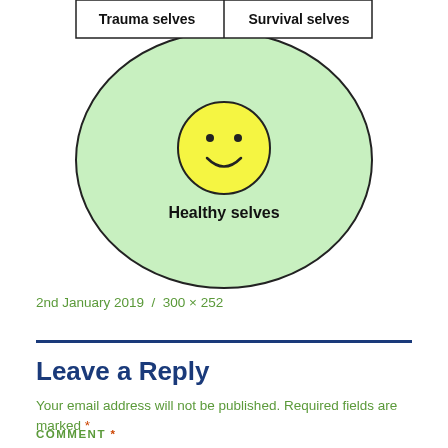[Figure (illustration): A circular diagram showing 'Healthy selves' at the bottom with a smiley face icon in the center on a light green background. At the top of the circle are two columns labeled 'Trauma selves' and 'Survival selves'.]
2nd January 2019  /  300 × 252
Leave a Reply
Your email address will not be published. Required fields are marked *
COMMENT *